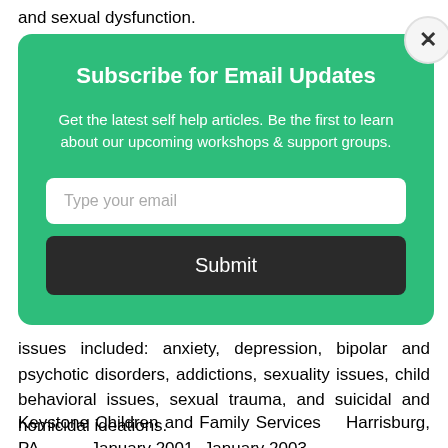and sexual dysfunction.
[Figure (other): Email subscription modal overlay on a green background with title 'Subscribe for Email Updates', description text, email input field, and a Submit button.]
issues included: anxiety, depression, bipolar and psychotic disorders, addictions, sexuality issues, child behavioral issues, sexual trauma, and suicidal and homicidal ideations.
Keystone Children and Family Services    Harrisburg, PA              January 2001- January 2003